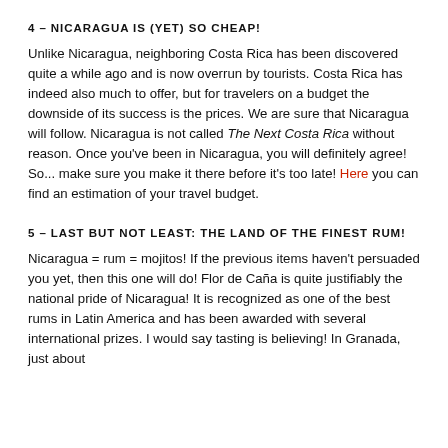4 – NICARAGUA IS (YET) SO CHEAP!
Unlike Nicaragua, neighboring Costa Rica has been discovered quite a while ago and is now overrun by tourists. Costa Rica has indeed also much to offer, but for travelers on a budget the downside of its success is the prices. We are sure that Nicaragua will follow. Nicaragua is not called The Next Costa Rica without reason. Once you've been in Nicaragua, you will definitely agree! So... make sure you make it there before it's too late! Here you can find an estimation of your travel budget.
5 – LAST BUT NOT LEAST: THE LAND OF THE FINEST RUM!
Nicaragua = rum = mojitos! If the previous items haven't persuaded you yet, then this one will do! Flor de Caña is quite justifiably the national pride of Nicaragua! It is recognized as one of the best rums in Latin America and has been awarded with several international prizes. I would say tasting is believing! In Granada, just about